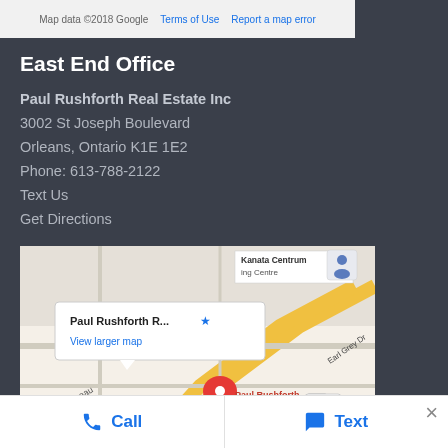[Figure (map): Top strip of a Google Map showing map attribution: 'Map data ©2018 Google', 'Terms of Use', 'Report a map error']
East End Office
Paul Rushforth Real Estate Inc
3002 St Joseph Boulevard
Orleans, Ontario K1E 1E2
Phone: 613-788-2122
Text Us
Get Directions
[Figure (map): Google Map showing location of Paul Rushforth Real Estate Kanata with a red pin marker, popup showing 'Paul Rushforth R...' with a star and 'View larger map' link. Nearby labels: Canadian Tire - Kanata ON, Kanata Centrum, Earl Grey Dr, route 61. Zoom controls visible.]
Call    Text